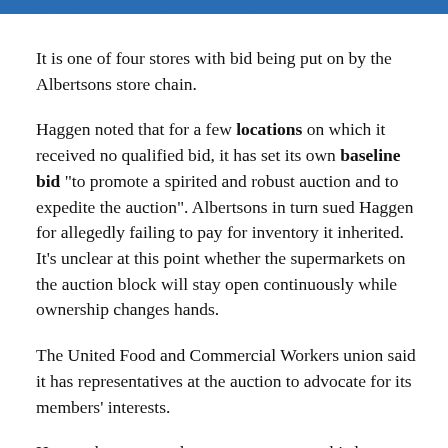filed with the 61st Bankruptcy Court.
It is one of four stores with bid being put on by the Albertsons store chain.
Haggen noted that for a few locations on which it received no qualified bid, it has set its own baseline bid “to promote a spirited and robust auction and to expedite the auction”. Albertsons in turn sued Haggen for allegedly failing to pay for inventory it inherited. It’s unclear at this point whether the supermarkets on the auction block will stay open continuously while ownership changes hands.
The United Food and Commercial Workers union said it has representatives at the auction to advocate for its members’ interests.
Haggen has yet to release a statement on this latest development.